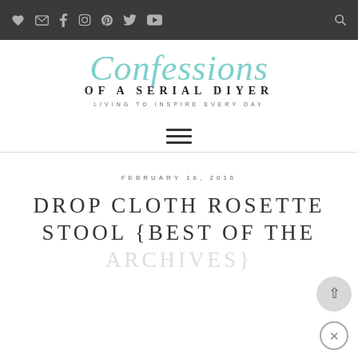Social icons navigation bar (heart, email, facebook, instagram, pinterest, twitter, youtube, search)
[Figure (logo): Confessions of a Serial DIYer blog logo — script text 'Confessions' in teal/mint color over 'OF A SERIAL DIYER' in uppercase serif, with tagline 'LIVING TO INSPIRE EVERY DAY']
[Figure (other): Hamburger menu icon (three horizontal lines)]
FEBRUARY 16, 2016
DROP CLOTH ROSETTE STOOL {BEST OF THE ARCHIVES}